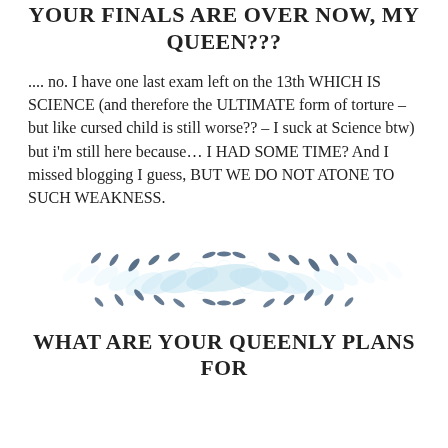YOUR FINALS ARE OVER NOW, MY QUEEN???
.... no. I have one last exam left on the 13th WHICH IS SCIENCE (and therefore the ULTIMATE form of torture – but like cursed child is still worse?? – I suck at Science btw) but i'm still here because… I HAD SOME TIME? And I missed blogging I guess, BUT WE DO NOT ATONE TO SUCH WEAKNESS.
[Figure (illustration): Decorative floral/feather divider in blue and light blue tones]
WHAT ARE YOUR QUEENLY PLANS FOR